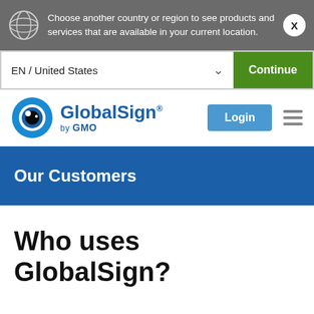Choose another country or region to see products and services that are available in your current location.
EN / United States
Continue
[Figure (logo): GlobalSign by GMO logo with eye icon]
Login
Our Customers
Who uses GlobalSign?